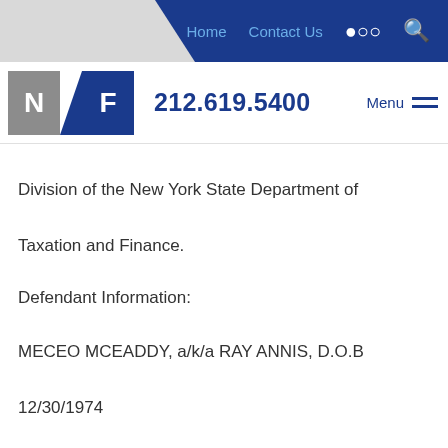Home   Contact Us   🔍
[Figure (logo): NF law firm logo with phone number 212.619.5400 and Menu button]
Division of the New York State Department of Taxation and Finance.
Defendant Information:
MECEO MCEADDY, a/k/a RAY ANNIS, D.O.B 12/30/1974